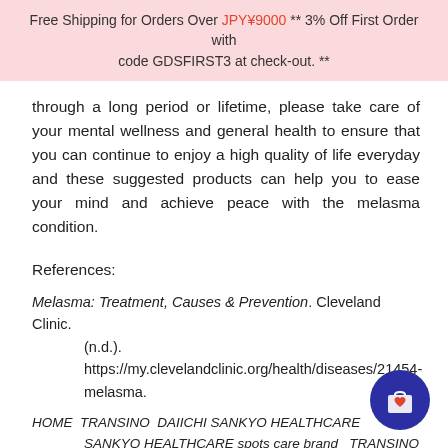Free Shipping for Orders Over JPY¥9000 ** 3% Off First Order with code GDSFIRST3 at check-out. **
through a long period or lifetime, please take care of your mental wellness and general health to ensure that you can continue to enjoy a high quality of life everyday and these suggested products can help you to ease your mind and achieve peace with the melasma condition.
References:
Melasma: Treatment, Causes & Prevention. Cleveland Clinic. (n.d.). https://my.clevelandclinic.org/health/diseases/21454-melasma.
HOME  TRANSINO  DAIICHI SANKYO HEALTHCARE SANKYO HEALTHCARE spots care brand   TRANSINO brand  . (n.d.). https://www.daiichisankyo-